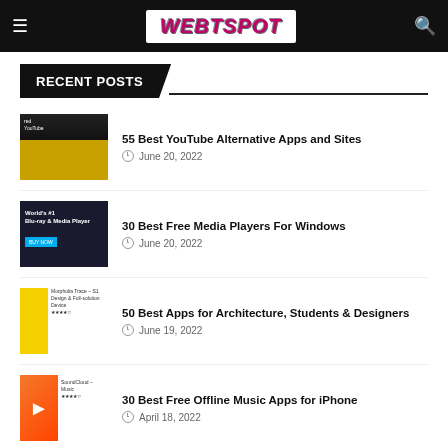WEBTSPOT
RECENT POSTS
55 Best YouTube Alternative Apps and Sites — June 20, 2022
30 Best Free Media Players For Windows — June 20, 2022
50 Best Apps for Architecture, Students & Designers — June 19, 2022
30 Best Free Offline Music Apps for iPhone — April 18, 2022